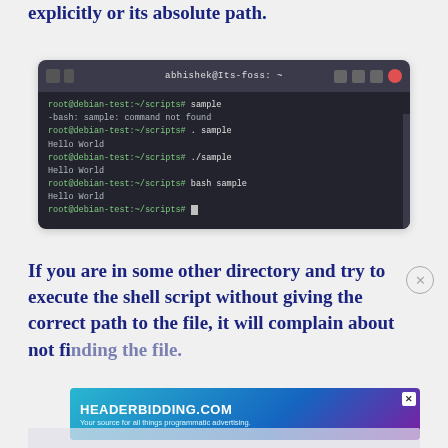You need to either specify the shell interpreter explicitly or its absolute path.
[Figure (screenshot): Terminal window showing bash script execution methods: 'sample' command not found, '. sample' outputs Hello World, './sample' outputs Hello World, 'bash sample' outputs Hello World, then a prompt.]
If you are in some other directory and try to execute the shell script without giving the correct path to the file, it will complain about not finding the file.
[Figure (other): Advertisement banner for HEADERBIDDING.COM - Your source for all things programmatic advertising.]